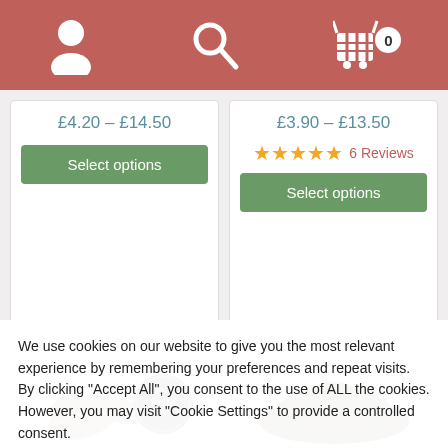Navigation bar with user, search, and cart icons
£4.20 – £14.50
Select options
£3.90 – £13.50
★★★★★ 6 Reviews
Select options
[Figure (photo): Tea leaves with 'great taste' award badge]
[Figure (photo): Loose dark tea leaves pile]
We use cookies on our website to give you the most relevant experience by remembering your preferences and repeat visits. By clicking "Accept All", you consent to the use of ALL the cookies. However, you may visit "Cookie Settings" to provide a controlled consent.
Cookie Settings
Accept All